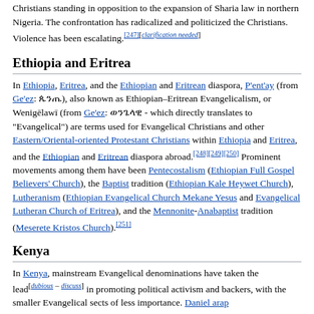Christians standing in opposition to the expansion of Sharia law in northern Nigeria. The confrontation has radicalized and politicized the Christians. Violence has been escalating.[247][clarification needed]
Ethiopia and Eritrea
In Ethiopia, Eritrea, and the Ethiopian and Eritrean diaspora, P'ent'ay (from Ge'ez: ጴንጤ), also known as Ethiopian–Eritrean Evangelicalism, or Wenigēlawī (from Ge'ez: ወንጌላዊ - which directly translates to "Evangelical") are terms used for Evangelical Christians and other Eastern/Oriental-oriented Protestant Christians within Ethiopia and Eritrea, and the Ethiopian and Eritrean diaspora abroad.[248][249][250] Prominent movements among them have been Pentecostalism (Ethiopian Full Gospel Believers' Church), the Baptist tradition (Ethiopian Kale Heywet Church), Lutheranism (Ethiopian Evangelical Church Mekane Yesus and Evangelical Lutheran Church of Eritrea), and the Mennonite-Anabaptist tradition (Meserete Kristos Church).[251]
Kenya
In Kenya, mainstream Evangelical denominations have taken the lead[dubious – discuss] in promoting political activism and backers, with the smaller Evangelical sects of less importance. Daniel arap